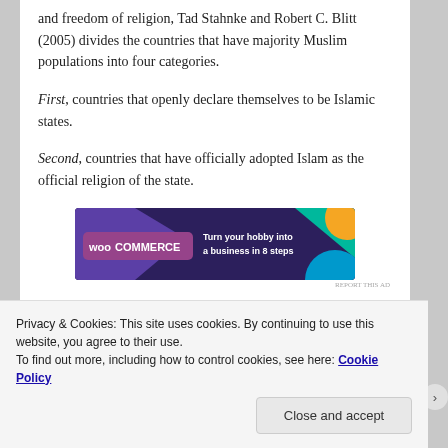and freedom of religion, Tad Stahnke and Robert C. Blitt (2005) divides the countries that have majority Muslim populations into four categories.
First, countries that openly declare themselves to be Islamic states.
Second, countries that have officially adopted Islam as the official religion of the state.
[Figure (screenshot): WooCommerce advertisement banner: 'Turn your hobby into a business in 8 steps']
Privacy & Cookies: This site uses cookies. By continuing to use this website, you agree to their use.
To find out more, including how to control cookies, see here: Cookie Policy